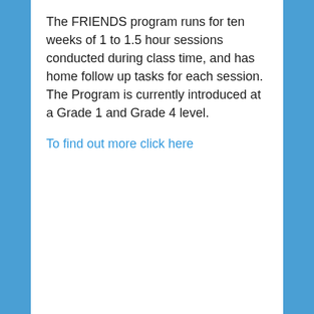The FRIENDS program runs for ten weeks of 1 to 1.5 hour sessions conducted during class time, and has home follow up tasks for each session. The Program is currently introduced at a Grade 1 and Grade 4 level.
To find out more click here